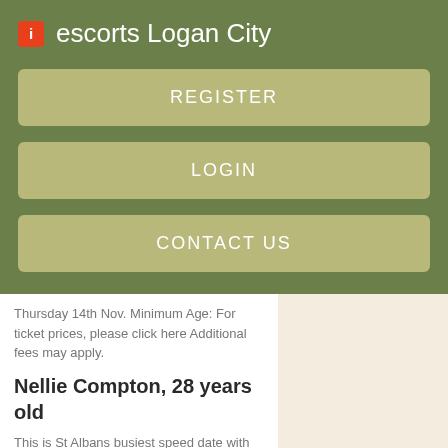escorts Logan City
REGISTER
LOGIN
CONTACT US
Thursday 14th Nov. Minimum Age: For ticket prices, please click here Additional fees may apply.
Nellie Compton, 28 years old
This is St Albans busiest speed date with dates at Hertfordshires finest cocktail bar. The CrownSt